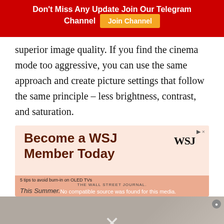Don't Miss Any Update Join Our Telegram Channel | Join Channel
superior image quality. If you find the cinema mode too aggressive, you can use the same approach and create picture settings that follow the same principle – less brightness, contrast, and saturation.
[Figure (screenshot): Advertisement banner for WSJ (Wall Street Journal) membership. Peach/salmon background with text 'Become a WSJ Member Today' and WSJ logo. Below is a partially visible video player overlay showing 'No compatible source was found for this media.' with a close button.]